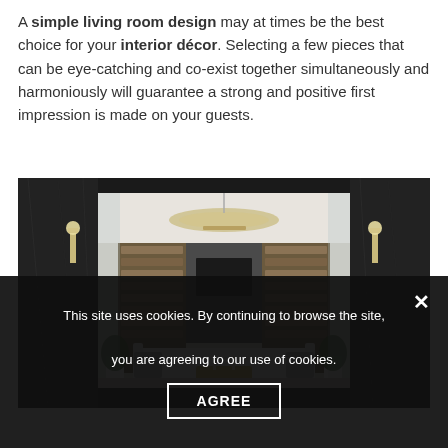A simple living room design may at times be the best choice for your interior décor. Selecting a few pieces that can be eye-catching and co-exist together simultaneously and harmoniously will guarantee a strong and positive first impression is made on your guests.
[Figure (photo): Interior design rendering of a luxurious dark living room with a large chandelier, bookshelf walls flanking a TV, white sofa, decorative plants, and wall sconces against dark marble walls.]
This site uses cookies. By continuing to browse the site, you are agreeing to our use of cookies.